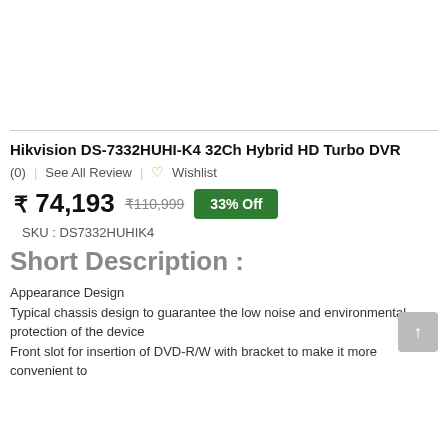Hikvision DS-7332HUHI-K4 32Ch Hybrid HD Turbo DVR
(0)  See All Review  ♡ Wishlist
₹ 74,193  ₹110,999  33% Off
SKU : DS7332HUHIK4
Short Description :
Appearance Design
Typical chassis design to guarantee the low noise and environmental protection of the device
Front slot for insertion of DVD-R/W with bracket to make it more convenient to